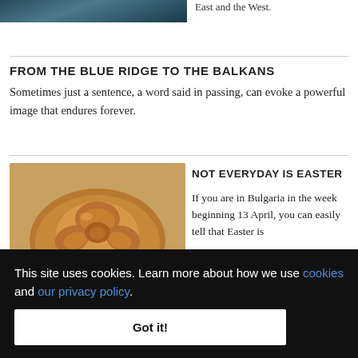[Figure (photo): Partial photo of outdoor scene with trees/nature at top left]
East and the West.
FROM THE BLUE RIDGE TO THE BALKANS
Sometimes just a sentence, a word said in passing, can evoke a powerful image that endures forever.
[Figure (photo): Photo of a round braided bread (Easter bread/kozunak)]
NOT EVERYDAY IS EASTER
If you are in Bulgaria in the week beginning 13 April, you can easily tell that Easter is
– Los
Moscow, Bangkok or Tokyo – 14
[Figure (photo): Partial photo at bottom left, dark outdoor scene]
This site uses cookies. Learn more about how we use cookies and our privacy policy.
Got it!